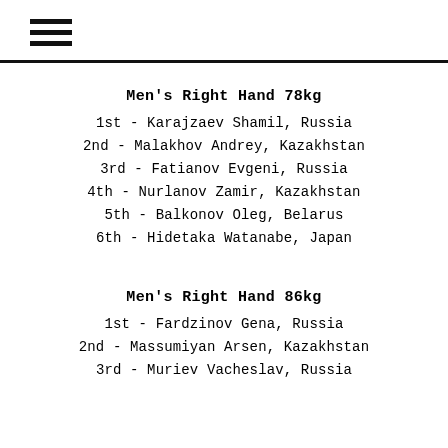≡
Men's Right Hand 78kg
1st - Karajzaev Shamil, Russia
2nd - Malakhov Andrey, Kazakhstan
3rd - Fatianov Evgeni, Russia
4th - Nurlanov Zamir, Kazakhstan
5th - Balkonov Oleg, Belarus
6th - Hidetaka Watanabe, Japan
Men's Right Hand 86kg
1st - Fardzinov Gena, Russia
2nd - Massumiyan Arsen, Kazakhstan
3rd - Muriev Vacheslav, Russia